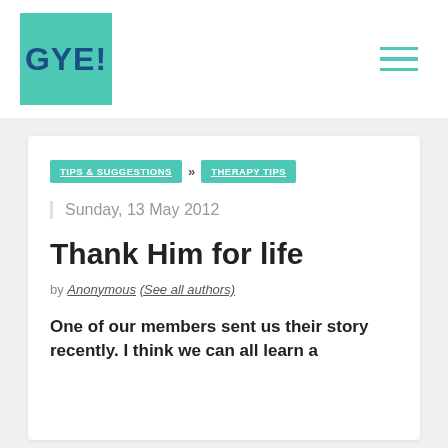GYE!
TIPS & SUGGESTIONS » THERAPY TIPS
Sunday, 13 May 2012
Thank Him for life
by Anonymous (See all authors)
One of our members sent us their story recently. I think we can all learn a